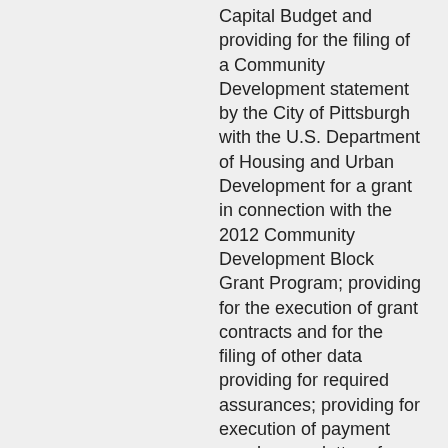Capital Budget and providing for the filing of a Community Development statement by the City of Pittsburgh with the U.S. Department of Housing and Urban Development for a grant in connection with the 2012 Community Development Block Grant Program; providing for the execution of grant contracts and for the filing of other data providing for required assurances; providing for execution of payment vouchers on letter of credit and for certification of authorized signature; the deposit of the funds in a bank account and providing for the payment of expenses within categories, so as to reprogram funds within City Council from: “District 1 Community